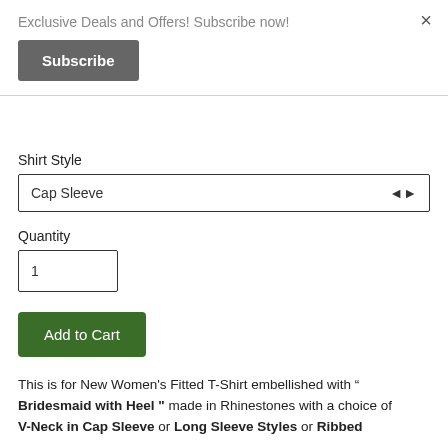Exclusive Deals and Offers! Subscribe now!
Subscribe
×
Shirt Style
Cap Sleeve
Quantity
1
Add to Cart
This is for New Women's Fitted T-Shirt embellished with “ Bridesmaid with Heel " made in Rhinestones with a choice of V-Neck in Cap Sleeve or Long Sleeve Styles or Ribbed